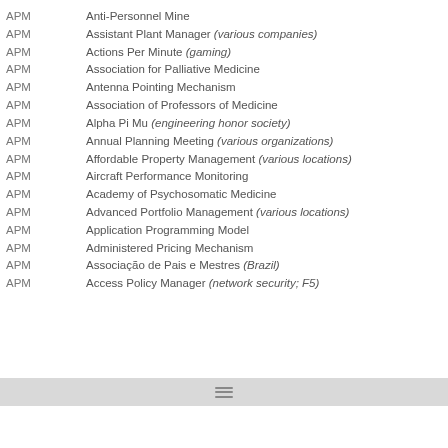APM   Anti-Personnel Mine
APM   Assistant Plant Manager (various companies)
APM   Actions Per Minute (gaming)
APM   Association for Palliative Medicine
APM   Antenna Pointing Mechanism
APM   Association of Professors of Medicine
APM   Alpha Pi Mu (engineering honor society)
APM   Annual Planning Meeting (various organizations)
APM   Affordable Property Management (various locations)
APM   Aircraft Performance Monitoring
APM   Academy of Psychosomatic Medicine
APM   Advanced Portfolio Management (various locations)
APM   Application Programming Model
APM   Administered Pricing Mechanism
APM   Associação de Pais e Mestres (Brazil)
APM   Access Policy Manager (network security; F5)